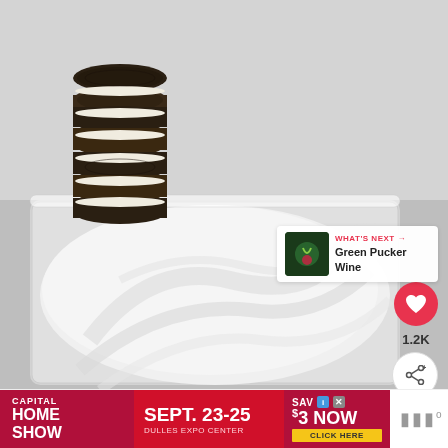[Figure (photo): A stack of Oreo cookies leaning against a clear glass baking dish filled with swirled white cream cheese frosting. Background is light gray. On the right side are UI overlays: a pink heart button with 1.2K likes, a share button, and a 'WHAT'S NEXT → Green Pucker Wine' card.]
[Figure (screenshot): Advertisement banner at the bottom: Capital Home Show Sept. 23-25 Dulles Expo Center, Save $3 Now, Click Here. Plus a gray logo on the right.]